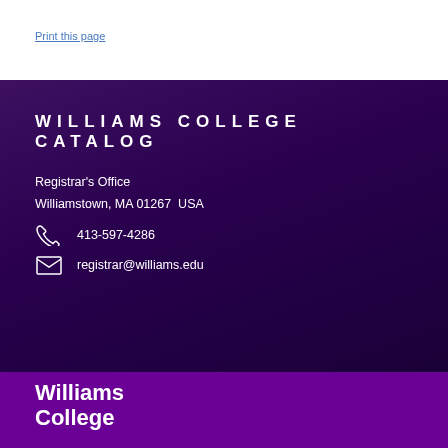Print this page
WILLIAMS COLLEGE CATALOG
Registrar's Office
Williamstown, MA 01267  USA
413-597-4286
registrar@williams.edu
Williams College